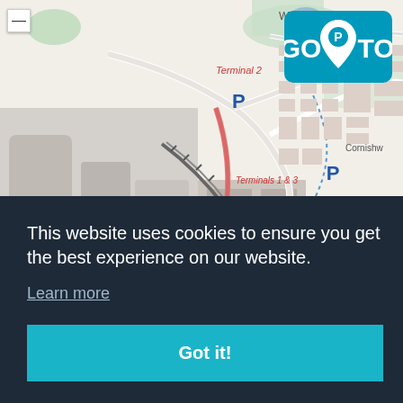[Figure (map): OpenStreetMap showing Manchester Airport area with Terminal 2, Terminals 1 & 3, Western Apron, Ringway Road West (A555), Long Stay Terminal 1 & 3 parking, JetParks 3, and Woodhouse area. Map includes road networks, parking icons (P), and airport infrastructure.]
[Figure (logo): GoTo Parking logo — blue rounded rectangle with 'GO' on left, parking pin 'P' icon center, 'TO' on right in white text on teal/blue background]
This website uses cookies to ensure you get the best experience on our website.
Learn more
Got it!